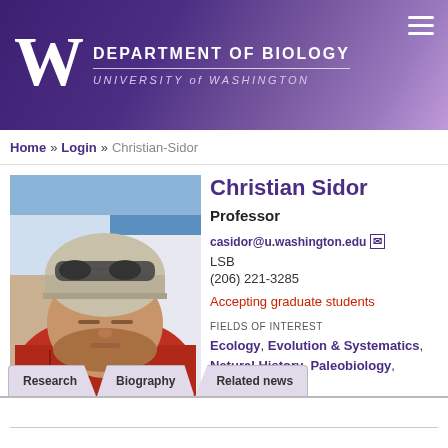DEPARTMENT OF BIOLOGY — UNIVERSITY of WASHINGTON
Home » Login » Christian-Sidor
Christian Sidor
Professor
casidor@u.washington.edu
LSB
(206) 221-3285
Accepting graduate students
FIELDS OF INTEREST
Ecology, Evolution & Systematics, Natural History, Paleobiology, Phylogenetics
[Figure (photo): Profile photo of Christian Sidor outdoors in a snowy environment, wearing a red jacket and grey knit hat with sunglasses on top, looking upward.]
Research | Biography | Related news